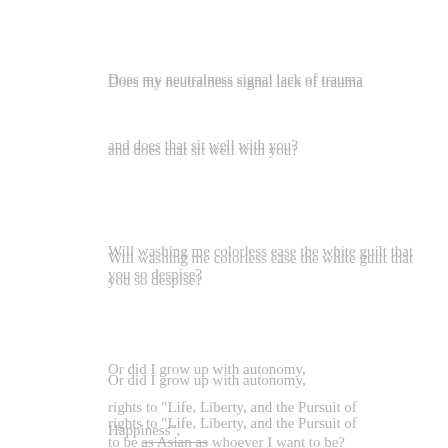Does my neutralness signal lack of trauma
and does that sit well with you?
Will washing me colorless ease the white guilt that you so despise?
Or did I grow up with autonomy,
rights to “Life, Liberty, and the Pursuit of Happiness”,
to be as Asian as whoever I want to be?